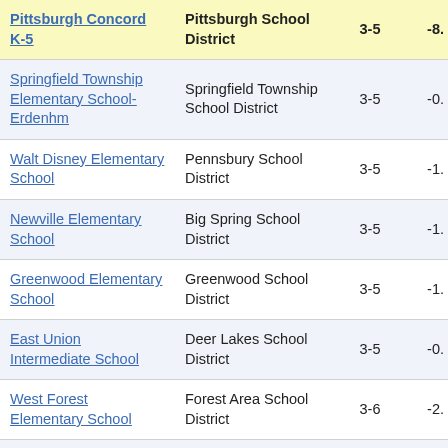| School | District | Grades | Score |
| --- | --- | --- | --- |
| Pittsburgh Concord K-5 | Pittsburgh School District | 3-5 | -8. |
| Springfield Township Elementary School-Erdenhm | Springfield Township School District | 3-5 | -0. |
| Walt Disney Elementary School | Pennsbury School District | 3-5 | -1. |
| Newville Elementary School | Big Spring School District | 3-5 | -1. |
| Greenwood Elementary School | Greenwood School District | 3-5 | -1. |
| East Union Intermediate School | Deer Lakes School District | 3-5 | -0. |
| West Forest Elementary School | Forest Area School District | 3-6 | -2. |
| Pittsburgh Langley K-8 | Pittsburgh School District | 3-8 | -0. |